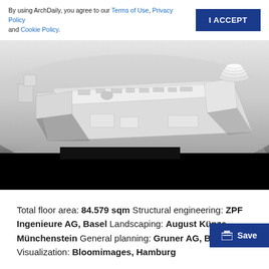By using ArchDaily, you agree to our Terms of Use, Privacy Policy and Cookie Policy.
[Figure (photo): Aerial view of an architectural scale model showing a large complex building with multiple structures, white matte finish, viewed from above at an angle]
Total floor area: 84.579 sqm Structural engineering: ZPF Ingenieure AG, Basel Landscaping: August Künzel Münchenstein General planning: Gruner AG, Basel Visualization: Bloomimages, Hamburg